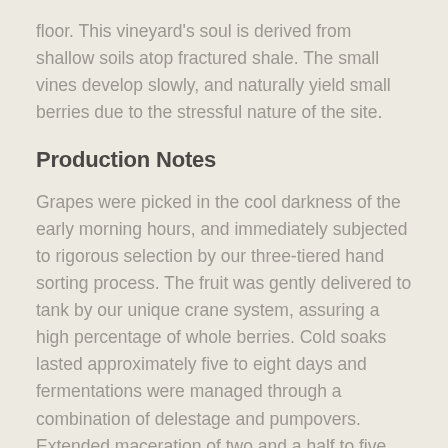floor. This vineyard's soul is derived from shallow soils atop fractured shale. The small vines develop slowly, and naturally yield small berries due to the stressful nature of the site.
Production Notes
Grapes were picked in the cool darkness of the early morning hours, and immediately subjected to rigorous selection by our three-tiered hand sorting process. The fruit was gently delivered to tank by our unique crane system, assuring a high percentage of whole berries. Cold soaks lasted approximately five to eight days and fermentations were managed through a combination of delestage and pumpovers. Extended maceration of two and a half to five weeks ensured exceptional extraction and a fine-tuning of tannin profiles.